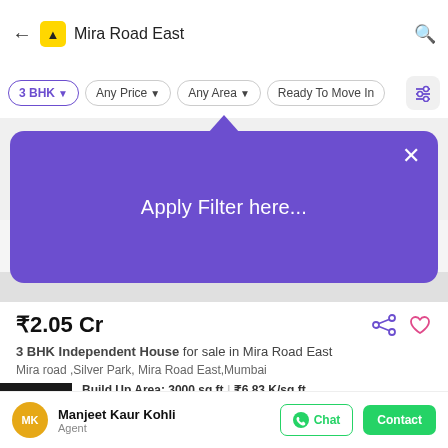[Figure (screenshot): Mobile app search bar with back arrow, yellow logo icon, 'Mira Road East' text input, and magnifier icon]
[Figure (screenshot): Filter pills row: 3 BHK (selected), Any Price, Any Area, Ready To Move In, and filter settings icon]
[Figure (screenshot): Purple dropdown tooltip with triangle pointer saying 'Apply Filter here...' and an X close button]
₹2.05 Cr
3 BHK Independent House for sale in Mira Road East
Mira road ,Silver Park, Mira Road East,Mumbai
Build Up Area: 3000 sq.ft  ₹6.83 K/sq.ft
Row house for sale Residential & commercial both are can Used 30... Read more
Manjeet Kaur Kohli
Agent